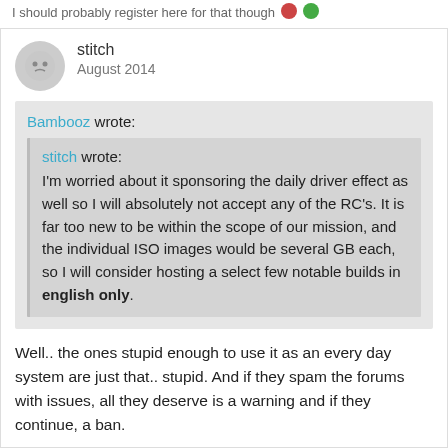I should probably register here for that though
stitch
August 2014
Bambooz wrote:
stitch wrote:
I'm worried about it sponsoring the daily driver effect as well so I will absolutely not accept any of the RC's. It is far too new to be within the scope of our mission, and the individual ISO images would be several GB each, so I will consider hosting a select few notable builds in english only.
Well.. the ones stupid enough to use it as an every day system are just that.. stupid. And if they spam the forums with issues, all they deserve is a warning and if they continue, a ban.